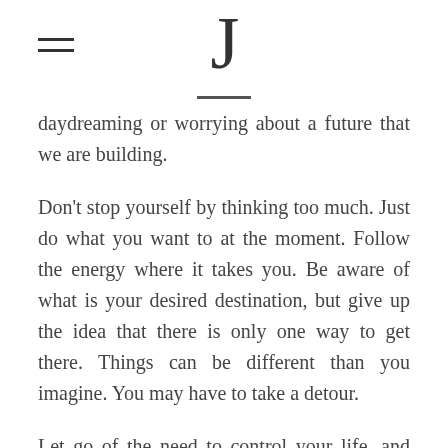J
daydreaming or worrying about a future that we are building.
Don't stop yourself by thinking too much. Just do what you want to at the moment. Follow the energy where it takes you. Be aware of what is your desired destination, but give up the idea that there is only one way to get there. Things can be different than you imagine. You may have to take a detour.
Let go of the need to control your life, and learn to be in the moment. You are resourceful, you are more powerful than you imagine, and you don't need to have everything ready